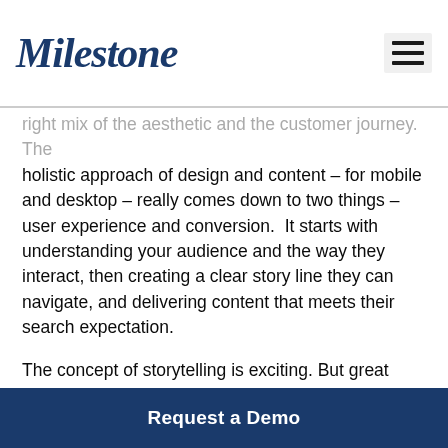Milestone
right mix of the aesthetic and the customer journey. The holistic approach of design and content – for mobile and desktop – really comes down to two things – user experience and conversion.  It starts with understanding your audience and the way they interact, then creating a clear story line they can navigate, and delivering content that meets their search expectation.
The concept of storytelling is exciting. But great content is more than telling a great story; words have to relate to the customer challenge, speak their language, feel empathy, tap into emotions, give answers and inspire action. If content doesn't relate to the user journey in every stage and encourage conversion, then we have failed our customer.
Request a Demo